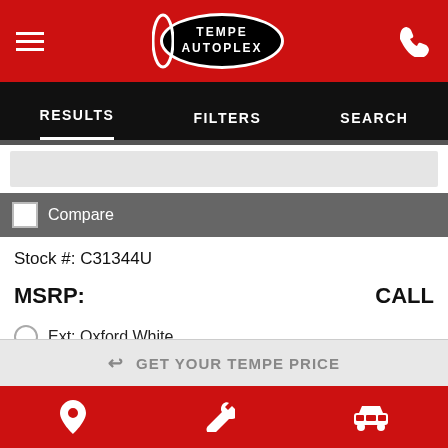Tempe Autoplex — mobile dealership app header
RESULTS   FILTERS   SEARCH
Compare
Stock #: C31344U
MSRP:   CALL
Ext: Oxford White
[Figure (logo): Show Me The Carfax logo — black and white badge with bold text SHOW ME THE CARFAX]
GET YOUR TEMPE PRICE
Bottom navigation bar with location, wrench, and car icons